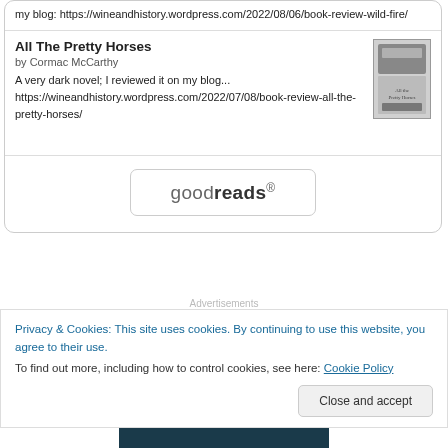my blog: https://wineandhistory.wordpress.com/2022/08/06/book-review-wild-fire/
All The Pretty Horses
by Cormac McCarthy
A very dark novel; I reviewed it on my blog... https://wineandhistory.wordpress.com/2022/07/08/book-review-all-the-pretty-horses/
[Figure (illustration): Book cover thumbnail for All The Pretty Horses]
[Figure (logo): Goodreads logo button]
Advertisements
Privacy & Cookies: This site uses cookies. By continuing to use this website, you agree to their use.
To find out more, including how to control cookies, see here: Cookie Policy
Close and accept